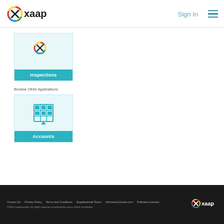[Figure (logo): Oxaap logo with colorful circular icon and bold text]
Sign In
[Figure (screenshot): Inspections app card with Oxaap icon on light blue background and teal label bar]
Browse Other Applications
[Figure (screenshot): Accounts app card with building/grid icon on light blue background and teal label bar]
Contact Us  Privacy Policy  Terms and Conditions  Supplemental Terms  uhrinventControls.com  Software Licenses  ©2021 bwaaormatic. All rights reserved unauthorized use is strictly prohibited.